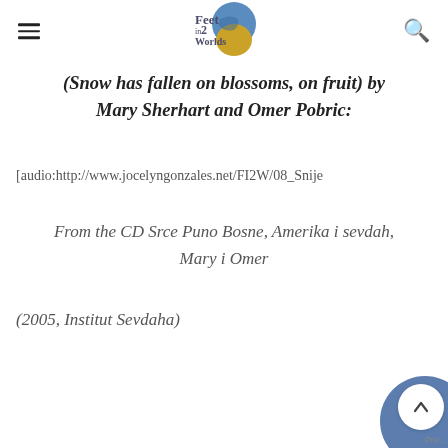Feet in 2 Worlds [logo]
(Snow has fallen on blossoms, on fruit) by Mary Sherhart and Omer Pobric:
[audio:http://www.jocelyngonzales.net/FI2W/08_Snije...
From the CD Srce Puno Bosne, Amerika i sevdah, Mary i Omer
(2005, Institut Sevdaha)